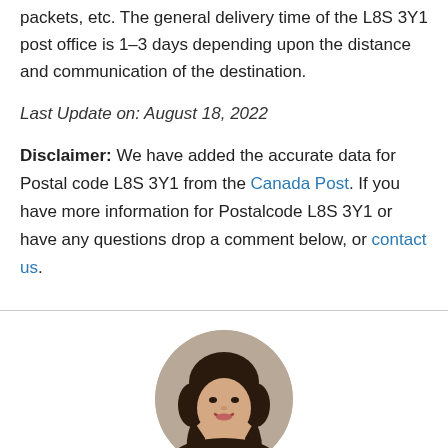packets, etc. The general delivery time of the L8S 3Y1 post office is 1–3 days depending upon the distance and communication of the destination.
Last Update on: August 18, 2022
Disclaimer: We have added the accurate data for Postal code L8S 3Y1 from the Canada Post. If you have more information for Postalcode L8S 3Y1 or have any questions drop a comment below, or contact us.
[Figure (photo): Circular avatar photo of a person with dark hair, smiling slightly]